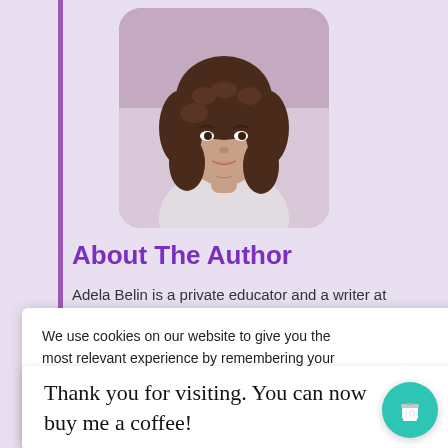[Figure (photo): Profile photo of Adela Belin, a woman with curly dark hair, rounded rectangle crop]
About The Author
Adela Belin is a private educator and a writer at
We use cookies on our website to give you the most relevant experience by remembering your preferences and repeat visits. By clicking “Accept”, you consent to the use of ALL the cookies.
writers.
Thank you for visiting. You can now buy me a coffee!